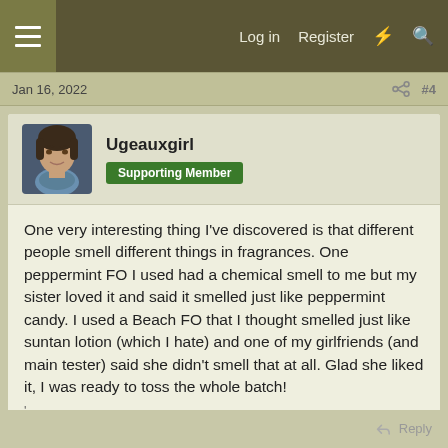☰  Log in  Register  ⚡  🔍
Jan 16, 2022   #4
Ugeauxgirl
Supporting Member
One very interesting thing I've discovered is that different people smell different things in fragrances. One peppermint FO I used had a chemical smell to me but my sister loved it and said it smelled just like peppermint candy. I used a Beach FO that I thought smelled just like suntan lotion (which I hate) and one of my girlfriends (and main tester) said she didn't smell that at all. Glad she liked it, I was ready to toss the whole batch!
'
↩ Reply